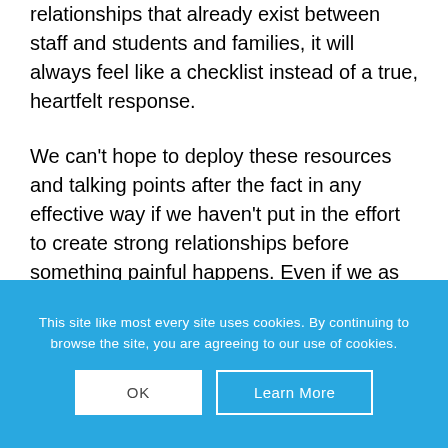relationships that already exist between staff and students and families, it will always feel like a checklist instead of a true, heartfelt response.
We can't hope to deploy these resources and talking points after the fact in any effective way if we haven't put in the effort to create strong relationships before something painful happens. Even if we as adults are sincere in our offer to be available for students and families who are grieving and frightened and angry, if we haven't established – through a pattern of behavior they can trust – a connection before, it is unlikely that
This site like most every site uses cookies. By continuing to browse the site, you are agreeing to our use of cookies.